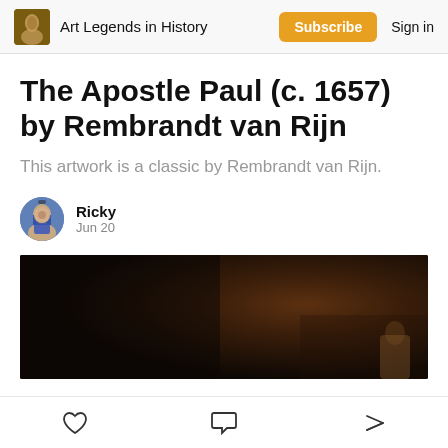Art Legends in History
The Apostle Paul (c. 1657) by Rembrandt van Rijn
This artwork is a classic by Rembrandt van Rijn.
Ricky
Jun 20
[Figure (photo): Dark painting, top portion of The Apostle Paul by Rembrandt van Rijn, showing a dark brown background with a faint figure emerging at the bottom right.]
Like | Comment | Share